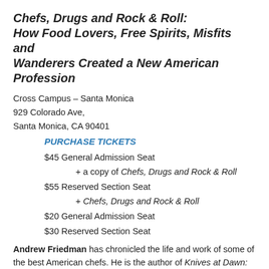Chefs, Drugs and Rock & Roll: How Food Lovers, Free Spirits, Misfits and Wanderers Created a New American Profession
Cross Campus – Santa Monica
929 Colorado Ave,
Santa Monica, CA 90401
PURCHASE TICKETS
$45 General Admission Seat
+ a copy of Chefs, Drugs and Rock & Roll
$55 Reserved Section Seat
+ Chefs, Drugs and Rock & Roll
$20 General Admission Seat
$30 Reserved Section Seat
Andrew Friedman has chronicled the life and work of some of the best American chefs. He is the author of Knives at Dawn: America's Quest for Culinary Glory at the Bocuse d'Or, the World's Most Prestigious Cooking Competition and coeditor of the internationally popular anthology Don't Try This at Home. He has also coauthored more than two dozen cookbooks and memoirs with the nation's leading chefs and restaurateurs.